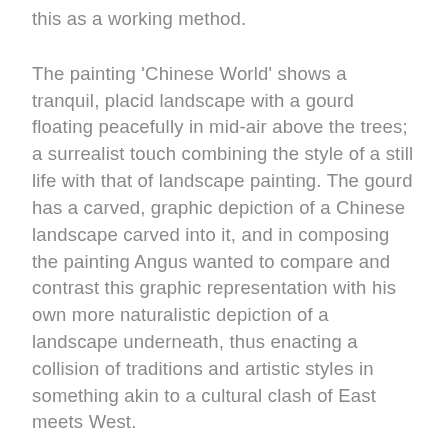this as a working method.
The painting 'Chinese World' shows a tranquil, placid landscape with a gourd floating peacefully in mid-air above the trees; a surrealist touch combining the style of a still life with that of landscape painting. The gourd has a carved, graphic depiction of a Chinese landscape carved into it, and in composing the painting Angus wanted to compare and contrast this graphic representation with his own more naturalistic depiction of a landscape underneath, thus enacting a collision of traditions and artistic styles in something akin to a cultural clash of East meets West.
The artist's trip through China allowed much